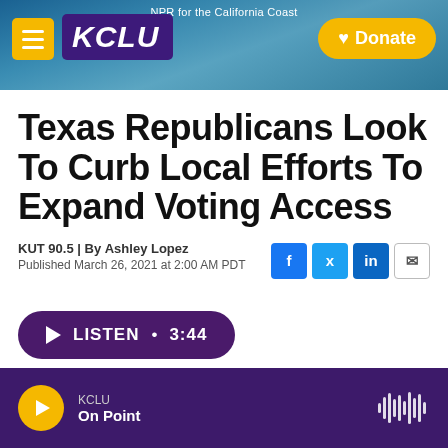NPR for the California Coast
[Figure (logo): KCLU radio station logo with hamburger menu and Donate button on a coastal photo background]
Texas Republicans Look To Curb Local Efforts To Expand Voting Access
KUT 90.5 | By Ashley Lopez
Published March 26, 2021 at 2:00 AM PDT
LISTEN • 3:44
KCLU On Point